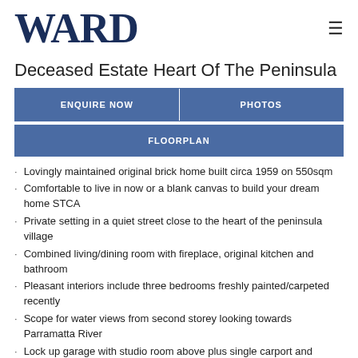[Figure (logo): WARD real estate logo in dark navy serif bold letters]
Deceased Estate Heart Of The Peninsula
ENQUIRE NOW
PHOTOS
FLOORPLAN
Lovingly maintained original brick home built circa 1959 on 550sqm
Comfortable to live in now or a blank canvas to build your dream home STCA
Private setting in a quiet street close to the heart of the peninsula village
Combined living/dining room with fireplace, original kitchen and bathroom
Pleasant interiors include three bedrooms freshly painted/carpeted recently
Scope for water views from second storey looking towards Parramatta River
Lock up garage with studio room above plus single carport and garden